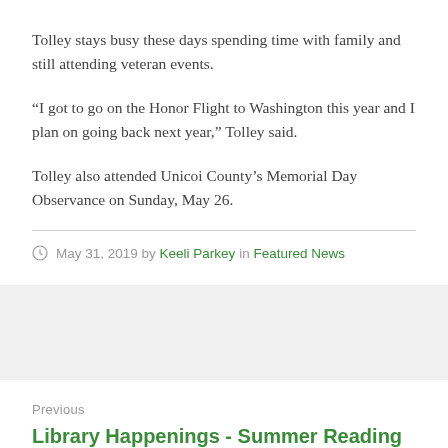Tolley stays busy these days spending time with family and still attending veteran events.
“I got to go on the Honor Flight to Washington this year and I plan on going back next year,” Tolley said.
Tolley also attended Unicoi County’s Memorial Day Observance on Sunday, May 26.
May 31, 2019 by Keeli Parkey in Featured News
Previous
Library Happenings - Summer Reading Programs in full swing